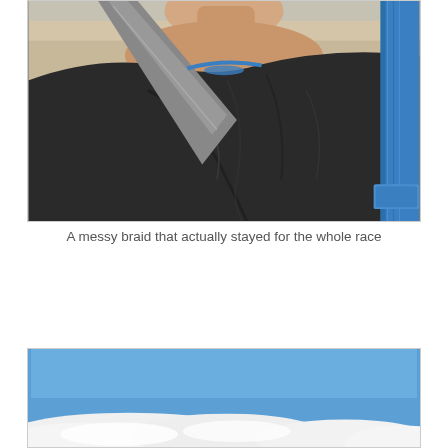[Figure (photo): Close-up photo of a person's neck/upper chest area wearing a black top with a gray shoulder strap crossing diagonally, and a blue strap visible on the right side. A messy braid is partially visible at the top.]
A messy braid that actually stayed for the whole race
[Figure (photo): Partial photo showing a blue sky with white clouds along the bottom portion of the frame.]